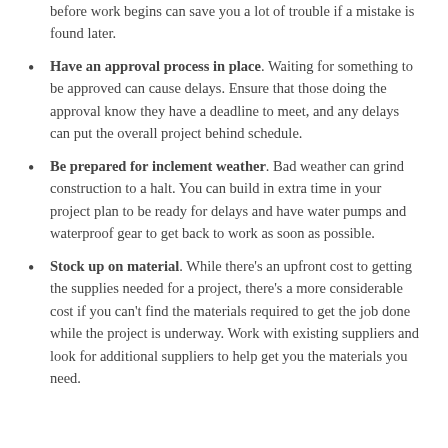before work begins can save you a lot of trouble if a mistake is found later.
Have an approval process in place. Waiting for something to be approved can cause delays. Ensure that those doing the approval know they have a deadline to meet, and any delays can put the overall project behind schedule.
Be prepared for inclement weather. Bad weather can grind construction to a halt. You can build in extra time in your project plan to be ready for delays and have water pumps and waterproof gear to get back to work as soon as possible.
Stock up on material. While there's an upfront cost to getting the supplies needed for a project, there's a more considerable cost if you can't find the materials required to get the job done while the project is underway. Work with existing suppliers and look for additional suppliers to help get you the materials you need.